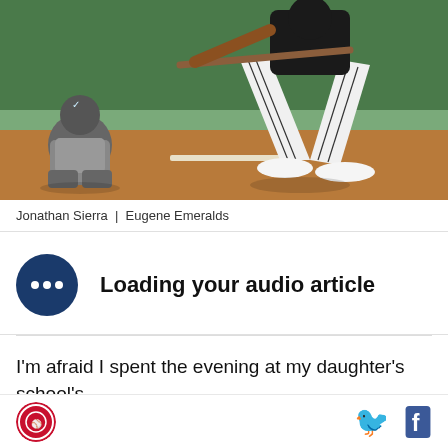[Figure (photo): Baseball player in pinstripe uniform mid-swing at home plate, catcher crouching behind, green outfield wall in background, dirt and chalk visible at home plate area.]
Jonathan Sierra | Eugene Emeralds
Loading your audio article
I'm afraid I spent the evening at my daughter's school's